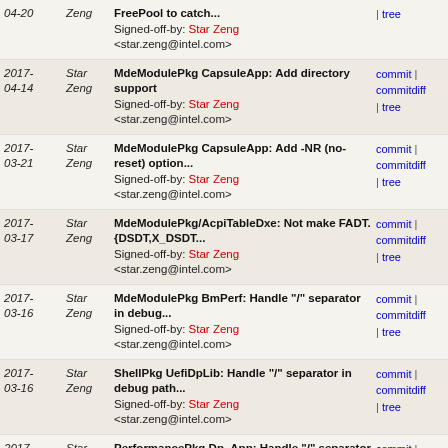| Date | Author | Message | Links |
| --- | --- | --- | --- |
| 2017-04-20 | Star Zeng | FreePool to catch...
Signed-off-by: Star Zeng <star.zeng@intel.com> | commit | commitdiff | tree |
| 2017-04-14 | Star Zeng | MdeModulePkg CapsuleApp: Add directory support
Signed-off-by: Star Zeng <star.zeng@intel.com> | commit | commitdiff | tree |
| 2017-03-21 | Star Zeng | MdeModulePkg CapsuleApp: Add -NR (no-reset) option...
Signed-off-by: Star Zeng <star.zeng@intel.com> | commit | commitdiff | tree |
| 2017-03-17 | Star Zeng | MdeModulePkg/AcpiTableDxe: Not make FADT.{DSDT,X_DSDT...
Signed-off-by: Star Zeng <star.zeng@intel.com> | commit | commitdiff | tree |
| 2017-03-16 | Star Zeng | MdeModulePkg BmPerf: Handle "/" separator in debug...
Signed-off-by: Star Zeng <star.zeng@intel.com> | commit | commitdiff | tree |
| 2017-03-16 | Star Zeng | ShellPkg UefiDpLib: Handle "/" separator in debug path...
Signed-off-by: Star Zeng <star.zeng@intel.com> | commit | commitdiff | tree |
| 2017-03-16 | Star Zeng | PerformancePkg Dp_App: Handle "/" separator in debug...
Signed-off-by: Star Zeng <star.zeng@intel.com> | commit | commitdiff | tree |
| 2017-03-16 | Star Zeng | MdeModulePkg PCD: Allow Skuld to be ... | commit | commitdiff |